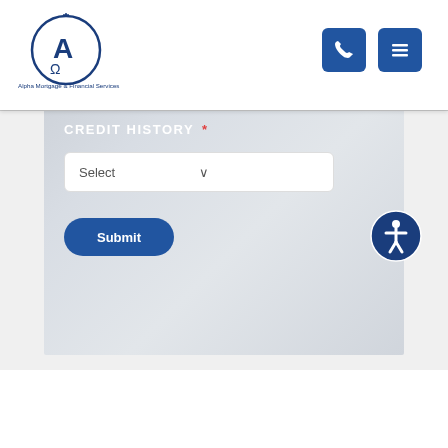[Figure (screenshot): Alpha Mortgage and Financial Services website screenshot showing a mortgage form with Property Value and Credit History dropdown selects, a Submit button, navigation bar with logo and phone/menu buttons, and an accessibility icon.]